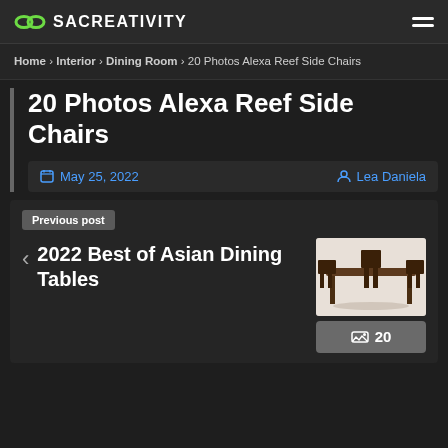SACREATIVITY
Home › Interior › Dining Room › 20 Photos Alexa Reef Side Chairs
20 Photos Alexa Reef Side Chairs
May 25, 2022   Lea Daniela
Previous post
‹ 2022 Best of Asian Dining Tables
[Figure (photo): Asian dining table set with dark wood chairs, 3D render style]
20